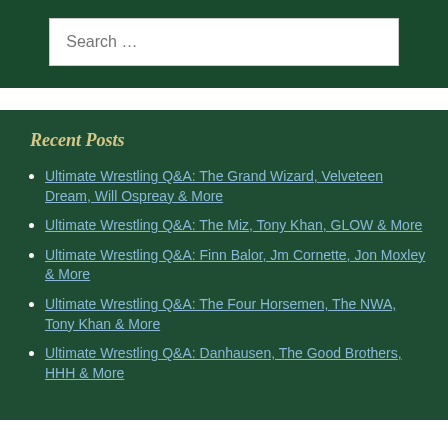Search …
Recent Posts
Ultimate Wrestling Q&A: The Grand Wizard, Velveteen Dream, Will Ospreay & More
Ultimate Wrestling Q&A: The Miz, Tony Khan, GLOW & More
Ultimate Wrestling Q&A: Finn Balor, Jm Cornette, Jon Moxley & More
Ultimate Wrestling Q&A: The Four Horsemen, The NWA, Tony Khan & More
Ultimate Wrestling Q&A: Danhausen, The Good Brothers, HHH & More